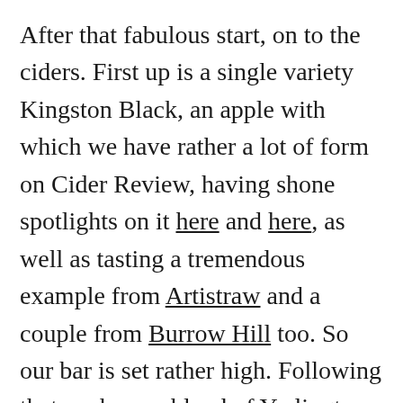After that fabulous start, on to the ciders. First up is a single variety Kingston Black, an apple with which we have rather a lot of form on Cider Review, having shone spotlights on it here and here, as well as tasting a tremendous example from Artistraw and a couple from Burrow Hill too. So our bar is set rather high. Following that we have a blend of Yarlington Mill, Michelin and Harry Masters' Jersey – two Somerset varieties plus a French apple that has been planted prolifically across south western England. Again, both have been bottled pét nat without sulphites or filtration, and again, you can find both for £12 per